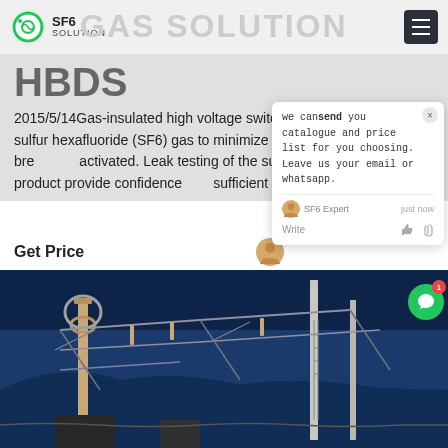SF6 SOLUTION
HBDS
2015/5/14Gas-insulated high voltage switchgear typically use a sulfur hexafluoride (SF6) gas to minimize arcing when the circuit breaker is activated. Leak testing of the subassembly and finished product provide confidence that sufficient pressurized SF6
Get Price
[Figure (screenshot): Chat popup widget showing message: 'we can send you catalogue and price list for you choosing. Leave us your email or whatsapp.' with SF6 Expert avatar and 'just now' timestamp, Write field with thumbs up and paperclip icons]
[Figure (photo): Outdoor electrical substation at dusk/night with high voltage switchgear, insulators, and metal framework structures against a blue sky background]